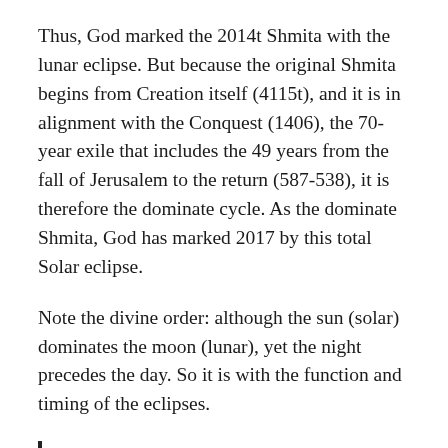Thus, God marked the 2014t Shmita with the lunar eclipse. But because the original Shmita begins from Creation itself (4115t), and it is in alignment with the Conquest (1406), the 70-year exile that includes the 49 years from the fall of Jerusalem to the return (587-538), it is therefore the dominate cycle. As the dominate Shmita, God has marked 2017 by this total Solar eclipse.
Note the divine order: although the sun (solar) dominates the moon (lunar), yet the night precedes the day. So it is with the function and timing of the eclipses.
“And God made the two great lights;